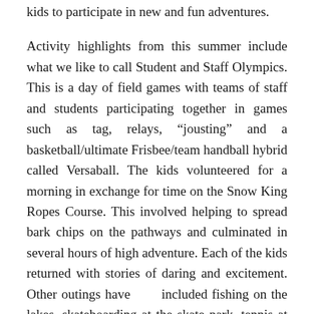kids to participate in new and fun adventures.
Activity highlights from this summer include what we like to call Student and Staff Olympics. This is a day of field games with teams of staff and students participating together in games such as tag, relays, “jousting” and a basketball/ultimate Frisbee/team handball hybrid called Versaball. The kids volunteered for a morning in exchange for time on the Snow King Ropes Course. This involved helping to spread bark chips on the pathways and culminated in several hours of high adventure. Each of the kids returned with stories of daring and excitement. Other outings have      included fishing on the lakes, skateboarding at the skate park, tennis at the park and hiking.
Summertime at the Van Vleck House presents the staff and kids with a multitude of opportunities that